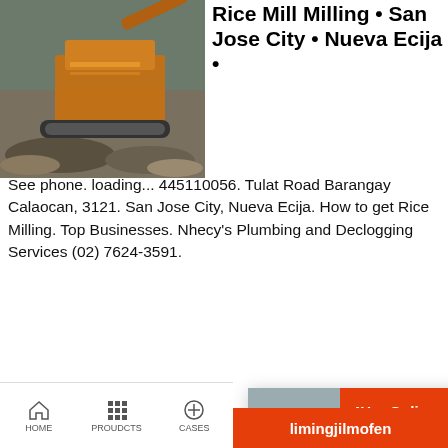[Figure (photo): Mining/crushing machine equipment outdoors]
Rice Mill Milling • San Jose City • Nueva Ecija •
See phone. loading... 445110056. Tulat Road Barangay Calaocan, 3121. San Jose City, Nueva Ecija. How to get Rice Milling. Top Businesses. Nhecy's Plumbing and Declogging Services (02) 7624-3591.
[Figure (screenshot): Live chat popup overlay with construction workers and customer service agent. Contains LIVE CHAT heading, 'Click for a Free Consultation', 'Chat now' and 'Chat later' buttons.]
[Figure (photo): Mining/crushing equipment with piles of gravel or ore]
About this si
Nov 18, 2020  Nu... Miller is feeling th... Nueva Ecija Rice...
November 18, 2020 · Calaocan Delivery & Sold 2...
[Figure (screenshot): Need questions & suggestion panel with Chat Now button and Enquiry link]
24Hrs Online
limingjilmofen
HOME   PROUDCTS   CASES